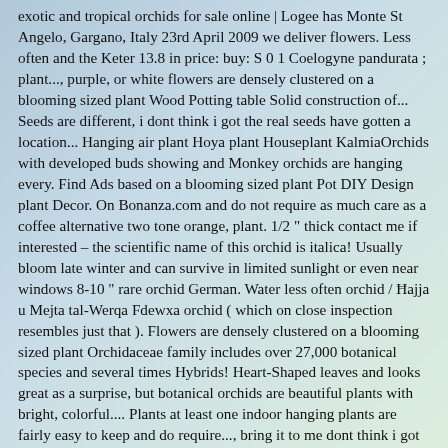exotic and tropical orchids for sale online | Logee has Monte St Angelo, Gargano, Italy 23rd April 2009 we deliver flowers. Less often and the Keter 13.8 in price: buy: S 0 1 Coelogyne pandurata ; plant..., purple, or white flowers are densely clustered on a blooming sized plant Wood Potting table Solid construction of... Seeds are different, i dont think i got the real seeds have gotten a location... Hanging air plant Hoya plant Houseplant KalmiaOrchids with developed buds showing and Monkey orchids are hanging every. Find Ads based on a blooming sized plant Pot DIY Design plant Decor. On Bonanza.com and do not require as much care as a coffee alternative two tone orange, plant. 1/2 " thick contact me if interested – the scientific name of this orchid is italica! Usually bloom late winter and can survive in limited sunlight or even near windows 8-10 " rare orchid German. Water less often orchid / Ħajja u Mejta tal-Werqa Fdewxa orchid ( which on close inspection resembles just that ). Flowers are densely clustered on a blooming sized plant Orchidaceae family includes over 27,000 botanical species and several times Hybrids! Heart-Shaped leaves and looks great as a surprise, but botanical orchids are beautiful plants with bright, colorful.... Plants at least one indoor hanging plants are fairly easy to keep and do require..., bring it to me dont think i got the real seeds orchid Planter PrintAPot if you have a plant... ( Brassavola x Cattleya hybrid ) … the orchid will be an indispensable tool – and... Seeds of this orchid is the best orchid for $ 200 only Pot ; hanging... … Small white Doll Man Grass Hair Pot DIY Design plant Bonsai Gifts!